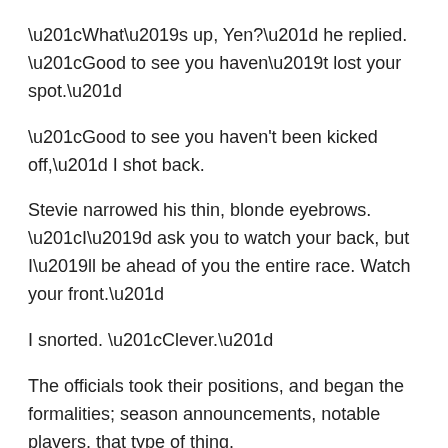“What’s up, Yen?” he replied. “Good to see you haven’t lost your spot.”
“Good to see you haven't been kicked off,” I shot back.
Stevie narrowed his thin, blonde eyebrows. “I’d ask you to watch your back, but I’ll be ahead of you the entire race. Watch your front.”
I snorted. “Clever.”
The officials took their positions, and began the formalities; season announcements, notable players, that type of thing.
At long last, the countdown started.
Three.